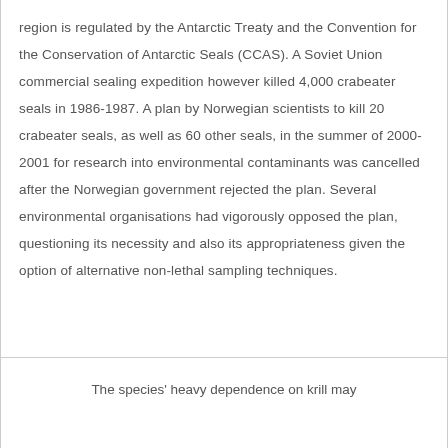region is regulated by the Antarctic Treaty and the Convention for the Conservation of Antarctic Seals (CCAS). A Soviet Union commercial sealing expedition however killed 4,000 crabeater seals in 1986-1987. A plan by Norwegian scientists to kill 20 crabeater seals, as well as 60 other seals, in the summer of 2000-2001 for research into environmental contaminants was cancelled after the Norwegian government rejected the plan. Several environmental organisations had vigorously opposed the plan, questioning its necessity and also its appropriateness given the option of alternative non-lethal sampling techniques.
The species' heavy dependence on krill may